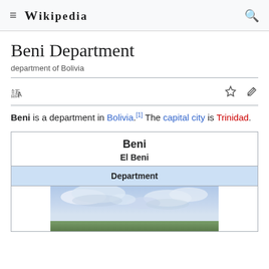Wikipedia
Beni Department
department of Bolivia
Beni is a department in Bolivia.[1] The capital city is Trinidad.
| Beni | El Beni | Department |
| --- | --- | --- |
| [photo of landscape] |
[Figure (photo): Landscape photo showing a wide open field under a partly cloudy sky, typical of the Beni savanna region of Bolivia.]